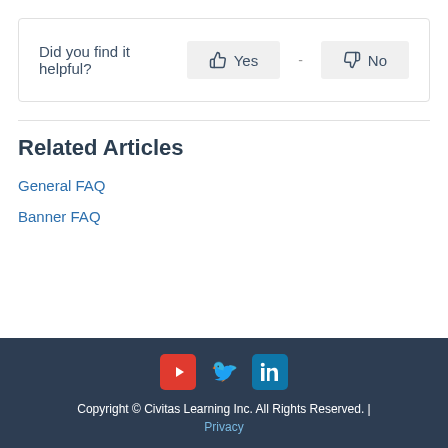[Figure (screenshot): A feedback widget with the question 'Did you find it helpful?' and two buttons: a thumbs-up 'Yes' button and a thumbs-down 'No' button with a separator dash between them.]
Related Articles
General FAQ
Banner FAQ
Copyright © Civitas Learning Inc. All Rights Reserved. | Privacy